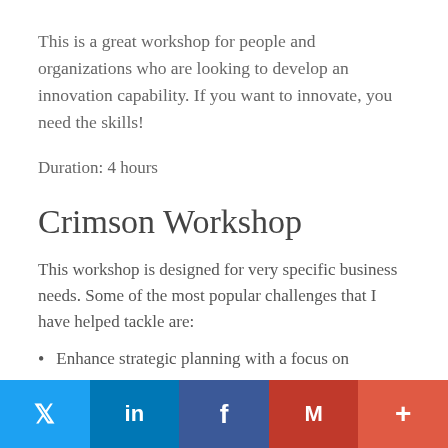This is a great workshop for people and organizations who are looking to develop an innovation capability. If you want to innovate, you need the skills!
Duration: 4 hours
Crimson Workshop
This workshop is designed for very specific business needs. Some of the most popular challenges that I have helped tackle are:
Enhance strategic planning with a focus on
[Figure (other): Social sharing bar with Twitter, LinkedIn, Facebook, Gmail, and More buttons]